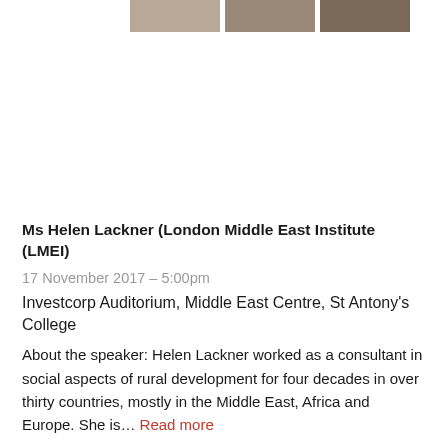[Figure (photo): Partial image strip at top of page showing cropped photos]
Ms Helen Lackner (London Middle East Institute (LMEI)
17 November 2017 – 5:00pm
Investcorp Auditorium, Middle East Centre, St Antony's College
About the speaker: Helen Lackner worked as a consultant in social aspects of rural development for four decades in over thirty countries, mostly in the Middle East, Africa and Europe. She is... Read more